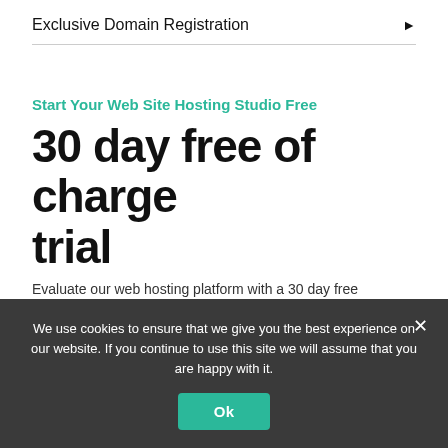Exclusive Domain Registration
Start Your Web Site Hosting Studio Free
30 day free of charge trial
Evaluate our web hosting platform with a 30 day free
We use cookies to ensure that we give you the best experience on our website. If you continue to use this site we will assume that you are happy with it.